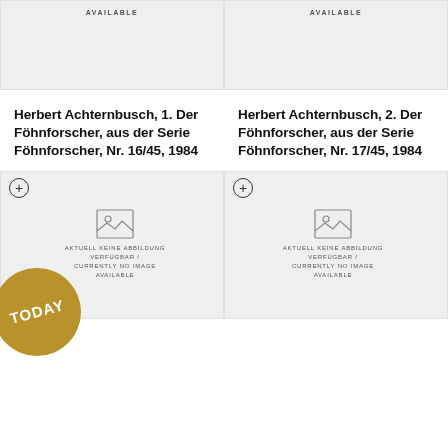[Figure (other): Top left artwork placeholder with AVAILABLE label, light gray background]
[Figure (other): Top right artwork placeholder with AVAILABLE label, light gray background]
Herbert Achternbusch, 1. Der Föhnforscher, aus der Serie Föhnforscher, Nr. 16/45, 1984
Herbert Achternbusch, 2. Der Föhnforscher, aus der Serie Föhnforscher, Nr. 17/45, 1984
[Figure (other): Bottom left artwork placeholder with + icon, no image available text in German and English, and TODAY badge]
[Figure (other): Bottom right artwork placeholder with + icon, no image available text in German and English]